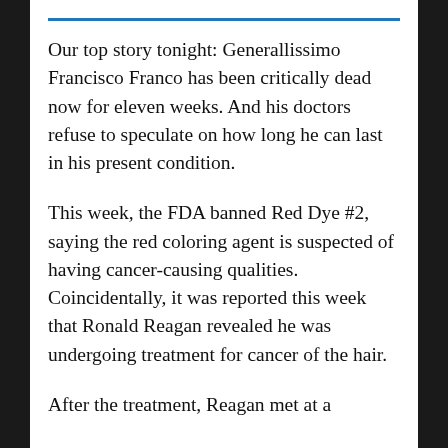Our top story tonight: Generallissimo Francisco Franco has been critically dead now for eleven weeks. And his doctors refuse to speculate on how long he can last in his present condition.
This week, the FDA banned Red Dye #2, saying the red coloring agent is suspected of having cancer-causing qualities. Coincidentally, it was reported this week that Ronald Reagan revealed he was undergoing treatment for cancer of the hair.
After the treatment, Reagan met at a